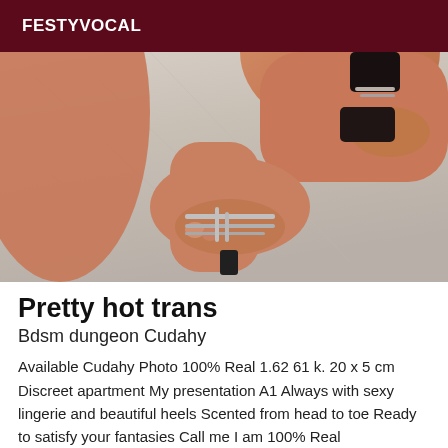FESTYVOCAL
[Figure (photo): Close-up photo of legs and feet wearing strappy high heels on a light surface]
Pretty hot trans
Bdsm dungeon Cudahy
Available Cudahy Photo 100% Real 1.62 61 k. 20 x 5 cm Discreet apartment My presentation A1 Always with sexy lingerie and beautiful heels Scented from head to toe Ready to satisfy your fantasies Call me I am 100% Real